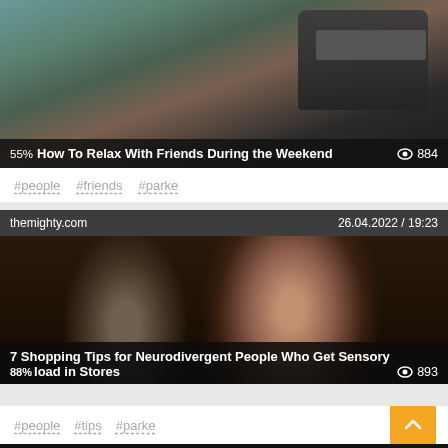[Figure (photo): Article card with jeep/SUV near coastal rocky wall. Title overlay: '55% How To Relax With Friends During the Weekend' with eye icon and 884 views.]
#people #friends #parke
[Figure (photo): Article card from themighty.com dated 26.04.2022 / 19:23. Two women, one smiling wearing sunglasses. Title: '7 Shopping Tips for Neurodivergent People Who Get Sensory 88% load in Stores' with eye icon and 893 views.]
#people #tips #parke
[Figure (photo): Partial article card from powerofpositivity.com dated 09.04.2022 / 01:15]